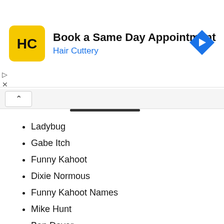[Figure (logo): Hair Cuttery advertisement banner with yellow HC logo, text 'Book a Same Day Appointment' and 'Hair Cuttery' in blue, and a blue diamond navigation arrow icon on the right]
Ladybug
Gabe Itch
Funny Kahoot
Dixie Normous
Funny Kahoot Names
Mike Hunt
Ben Dover
Barry Mckockiner
Kim Jong
Moe Lester
Kahoot Name
Inappropriate Kahoot Names
Eye Candy